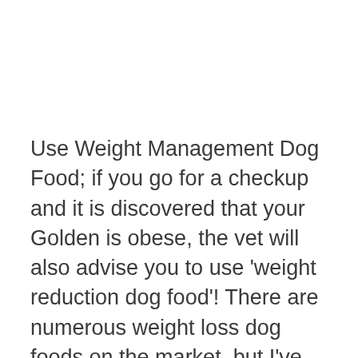Use Weight Management Dog Food; if you go for a checkup and it is discovered that your Golden is obese, the vet will also advise you to use 'weight reduction dog food'! There are numerous weight loss dog foods on the market, but I've highlighted some of the best ones in this article! So go ahead and look them up!